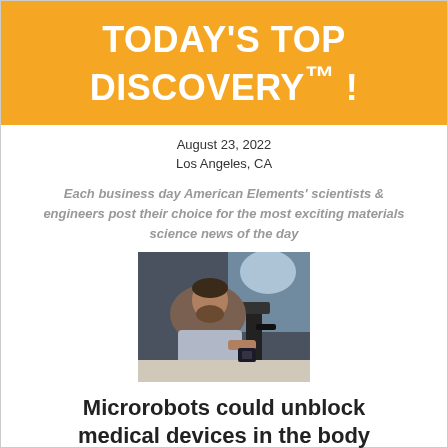TODAY'S TOP DISCOVERY™ !
August 23, 2022
Los Angeles, CA
Each business day American Elements' scientists & engineers post their choice for the most exciting materials science news of the day
[Figure (photo): A man looking through or working with a microscope or scientific instrument in a laboratory setting.]
Microrobots could unblock medical devices in the body
Click here to see the primary source for this post and previous posts > > >